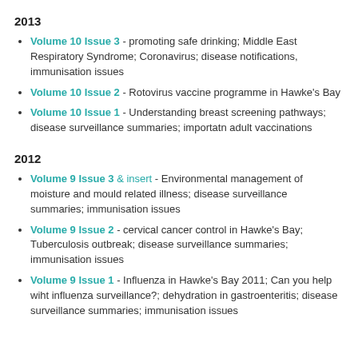2013
Volume 10 Issue 3 - promoting safe drinking; Middle East Respiratory Syndrome; Coronavirus; disease notifications, immunisation issues
Volume 10 Issue 2 - Rotovirus vaccine programme in Hawke's Bay
Volume 10 Issue 1 - Understanding breast screening pathways; disease surveillance summaries; importatn adult vaccinations
2012
Volume 9 Issue 3 & insert - Environmental management of moisture and mould related illness; disease surveillance summaries; immunisation issues
Volume 9 Issue 2 - cervical cancer control in Hawke's Bay; Tuberculosis outbreak; disease surveillance summaries; immunisation issues
Volume 9 Issue 1 - Influenza in Hawke's Bay 2011; Can you help wiht influenza surveillance?; dehydration in gastroenteritis; disease surveillance summaries; immunisation issues